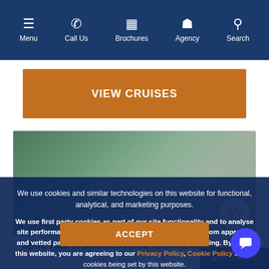Menu | Call Us | Brochures | Agency | Search
VIEW CRUISES
[Figure (photo): Blurred outdoor landscape photo with green and muted tones, partially visible behind card overlay]
Split, Rab & Undiscovered Islands of the Adriatic Cruise
We use cookies and similar technologies on this website for functional, analytical, and marketing purposes.

We use first party cookies as part of our site functionality and to analyse site performance and usage. We use third party cookies, from approved and vetted partners, to personalise marketing and advertising. By using this website, you are agreeing to our Privacy Policy, Cookie Policy and to cookies being set by this website.
ACCEPT
8 days starting from $23,999pp